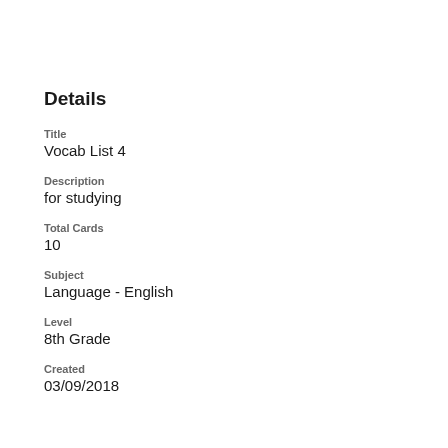Details
Title
Vocab List 4
Description
for studying
Total Cards
10
Subject
Language - English
Level
8th Grade
Created
03/09/2018